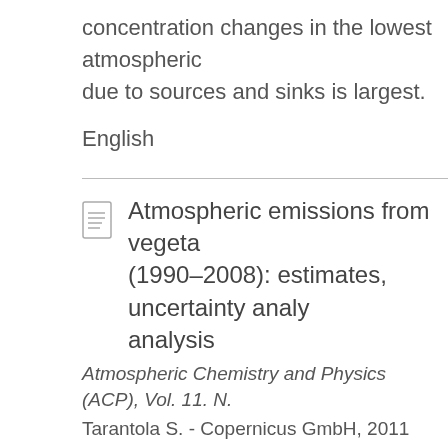concentration changes in the lowest atmospheric due to sources and sinks is largest.
English
Atmospheric emissions from vegetation fires in Portugal (1990–2008): estimates, uncertainty analysis, and sensitivity analysis
Atmospheric Chemistry and Physics (ACP), Vol. 11. N.
Tarantola S. - Copernicus GmbH, 2011
Atmospheric emissions from wildfires in Portugal the period 1990–2008 using Landsat-based burn maps, national forest inventory data, biometric m data. Be i la e data la a